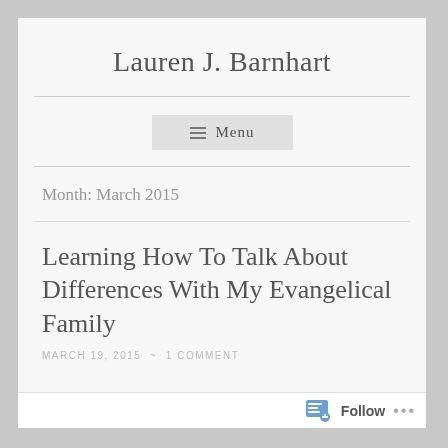Lauren J. Barnhart
≡ Menu
Month: March 2015
Learning How To Talk About Differences With My Evangelical Family
MARCH 19, 2015 ~ 1 COMMENT
Follow